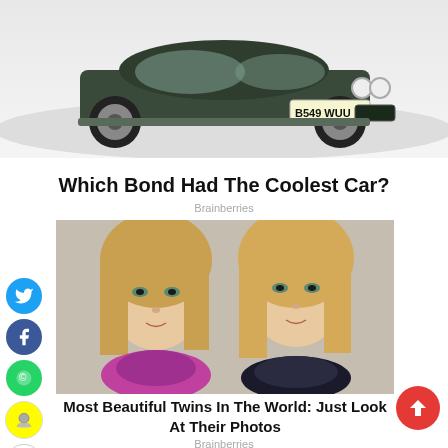[Figure (photo): Front view of a dark green classic James Bond car (Mini/classic car style) with license plate B549 WUU on white background]
Which Bond Had The Coolest Car?
Brainberries
[Figure (photo): Two young blonde twin girls with blue-green eyes wearing colorful scarves, posed side by side against gray background]
Most Beautiful Twins In The World: Just Look At Their Photos
Brainberries